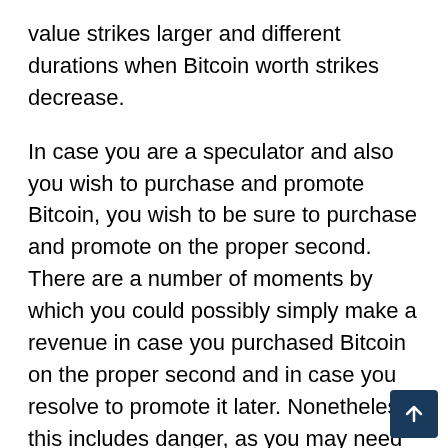value strikes larger and different durations when Bitcoin worth strikes decrease.
In case you are a speculator and also you wish to purchase and promote Bitcoin, you wish to be sure to purchase and promote on the proper second. There are a number of moments by which you could possibly simply make a revenue in case you purchased Bitcoin on the proper second and in case you resolve to promote it later. Nonetheless, this includes danger, as you may need bought Bitcoin at, for instance, $69,000 and waited a few years for its worth to surpass its all-time excessive.
Bitcoin can enhance in worth over time and surpass its earlier all-time excessive of $69,000 sooner or later. Do we all know if this may occur for positive